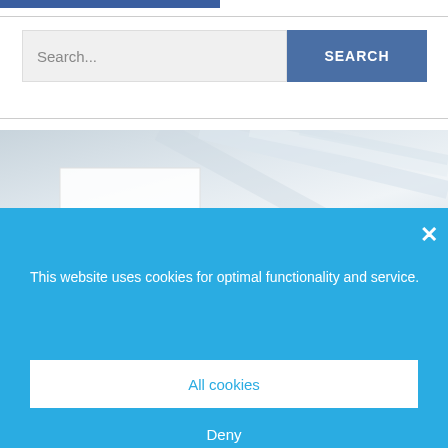[Figure (screenshot): Top navigation bar partial with blue highlight strip]
[Figure (screenshot): Search bar with text input field showing 'Search...' placeholder and blue SEARCH button]
[Figure (photo): Banner image with light grey/white diagonal abstract background and a small white content box overlay]
This website uses cookies for optimal functionality and service.
All cookies
Deny